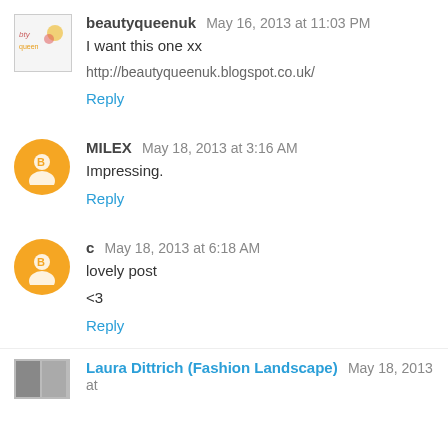beautyqueenuk May 16, 2013 at 11:03 PM
I want this one xx
http://beautyqueenuk.blogspot.co.uk/
Reply
MILEX May 18, 2013 at 3:16 AM
Impressing.
Reply
c May 18, 2013 at 6:18 AM
lovely post
<3
Reply
Laura Dittrich (Fashion Landscape) May 18, 2013 at